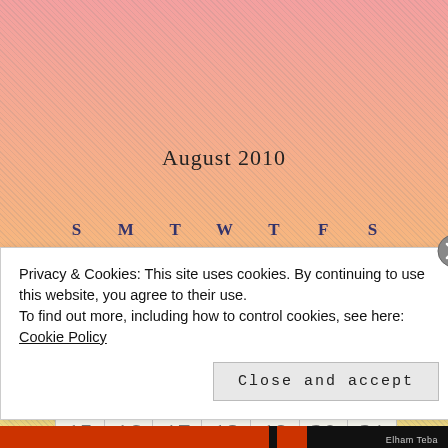August 2010
| S | M | T | W | T | F | S |
| --- | --- | --- | --- | --- | --- | --- |
| 1 | 2 | 3 | 4 | 5 | 6 | 7 |
| 8 | 9 | 10 | 11 | 12 | 13 | 14 |
| 15 | 16 | 17 | 18 | 19 | 20 | 21 |
Privacy & Cookies: This site uses cookies. By continuing to use this website, you agree to their use.
To find out more, including how to control cookies, see here: Cookie Policy
Close and accept